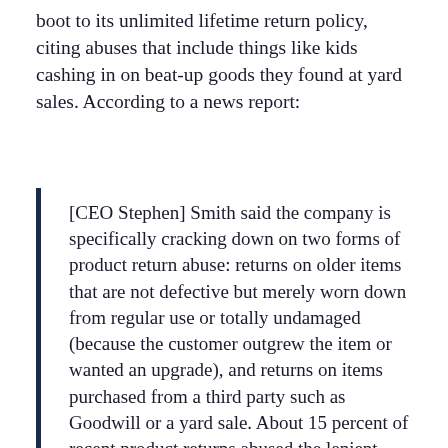boot to its unlimited lifetime return policy, citing abuses that include things like kids cashing in on beat-up goods they found at yard sales. According to a news report:
[CEO Stephen] Smith said the company is specifically cracking down on two forms of product return abuse: returns on older items that are not defective but merely worn down from regular use or totally undamaged (because the customer outgrew the item or wanted an upgrade), and returns on items purchased from a third party such as Goodwill or a yard sale. About 15 percent of recent product returns abused the lenient guarantee policy – double what it was just a few years ago, he said.